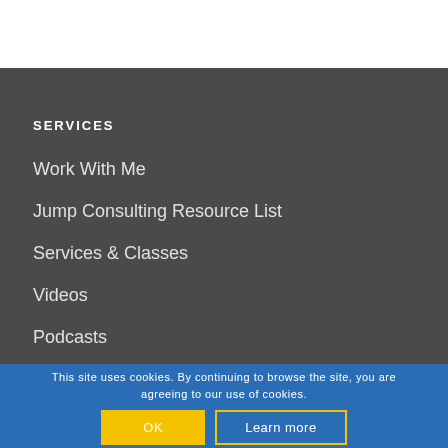SERVICES
Work With Me
Jump Consulting Resource List
Services & Classes
Videos
Podcasts
Employees
This site uses cookies. By continuing to browse the site, you are agreeing to our use of cookies.
OK
Learn more